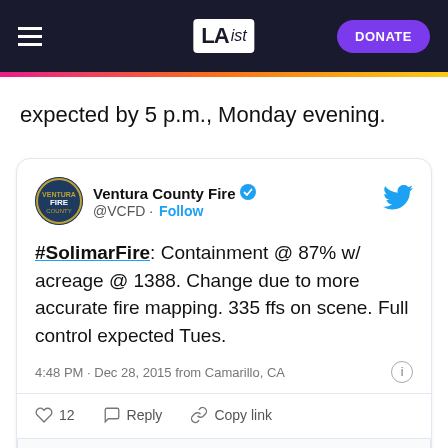LAist — DONATE
expected by 5 p.m., Monday evening.
[Figure (screenshot): Embedded tweet from Ventura County Fire (@VCFD) verified account: '#SolimarFire: Containment @ 87% w/ acreage @ 1388. Change due to more accurate fire mapping. 335 ffs on scene. Full control expected Tues.' Posted 4:48 PM · Dec 28, 2015 from Camarillo, CA. Shows 12 likes, Reply and Copy link actions.]